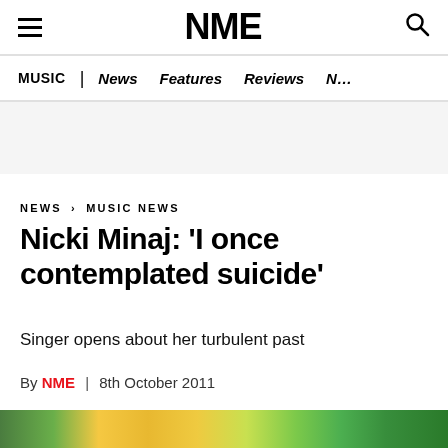NME — MUSIC | News | Features | Reviews
NEWS › MUSIC NEWS
Nicki Minaj: 'I once contemplated suicide'
Singer opens about her turbulent past
By NME | 8th October 2011
[Figure (photo): Colorful background image at bottom of article page, showing green and yellow tones]